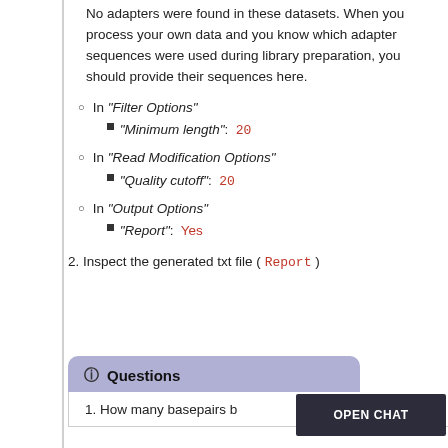No adapters were found in these datasets. When you process your own data and you know which adapter sequences were used during library preparation, you should provide their sequences here.
In "Filter Options"
"Minimum length":  20
In "Read Modification Options"
"Quality cutoff":  20
In "Output Options"
"Report":  Yes
2. Inspect the generated txt file ( Report )
Questions
1. How many basepairs b